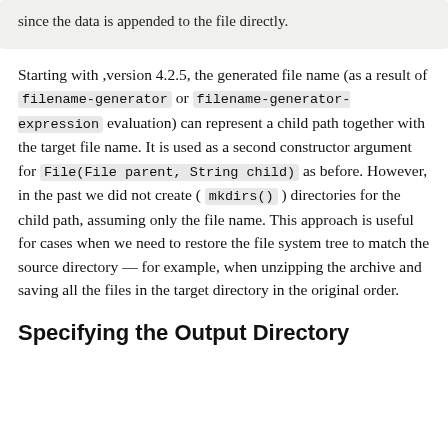since the data is appended to the file directly.
Starting with ,version 4.2.5, the generated file name (as a result of filename-generator or filename-generator-expression evaluation) can represent a child path together with the target file name. It is used as a second constructor argument for File(File parent, String child) as before. However, in the past we did not create ( mkdirs() ) directories for the child path, assuming only the file name. This approach is useful for cases when we need to restore the file system tree to match the source directory — for example, when unzipping the archive and saving all the files in the target directory in the original order.
Specifying the Output Directory